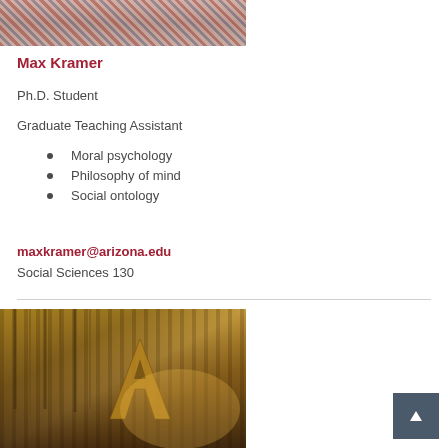[Figure (photo): Top portion of a photo showing a man in a plaid/checkered shirt]
Max Kramer
Ph.D. Student
Graduate Teaching Assistant
Moral psychology
Philosophy of mind
Social ontology
maxkramer@arizona.edu
Social Sciences 130
[Figure (photo): Photo of the University of Arizona 'A' logo/sign in golden/warm tones at sunset, with a building facade in the background]